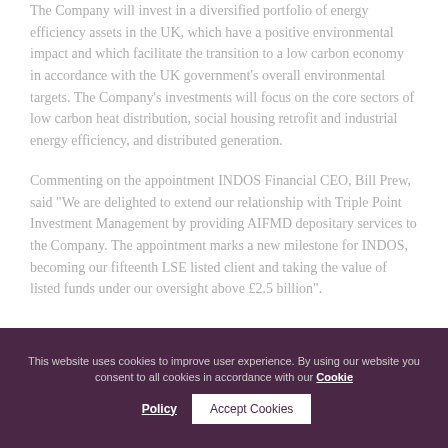The Company will invest in a diversified portfolio of energy efficiency assets in the UK, which have a positive environmental impact and which facilitate the transition to a low carbon economy in accordance with the UK government's overall environmental targets. The Company's investments will focus on the core sectors of low carbon heat distribution, social housing retrofit and industrial energy efficiency, and distributed generation.
Commenting on the appointment INDOS Financial CEO, Bill Prew, said "We are delighted to extend our relationship with Triple Point Investment Management by providing AIFMD depositary services to the Company. The appointment marks a new milestone for INDOS, becoming our fifteenth LSE listed client and taking the value of listed funds under our oversight above £2.5 billion".
This website uses cookies to improve user experience. By using our website you consent to all cookies in accordance with our Cookie Policy